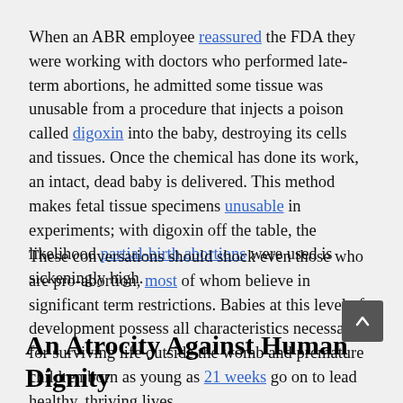When an ABR employee reassured the FDA they were working with doctors who performed late-term abortions, he admitted some tissue was unusable from a procedure that injects a poison called digoxin into the baby, destroying its cells and tissues. Once the chemical has done its work, an intact, dead baby is delivered. This method makes fetal tissue specimens unusable in experiments; with digoxin off the table, the likelihood partial-birth abortions were used is sickeningly high.
These conversations should shock even those who are pro-abortion, most of whom believe in significant term restrictions. Babies at this level of development possess all characteristics necessary for surviving life outside the womb and premature children born as young as 21 weeks go on to lead healthy, thriving lives.
An Atrocity Against Human Dignity